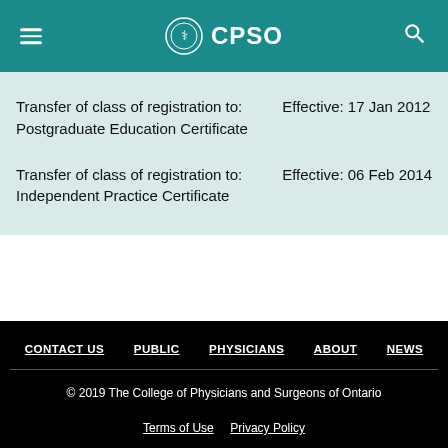CPSO
| Registration Event | Date |
| --- | --- |
| Transfer of class of registration to: Postgraduate Education Certificate | Effective: 17 Jan 2012 |
| Transfer of class of registration to: Independent Practice Certificate | Effective: 06 Feb 2014 |
CONTACT US  PUBLIC  PHYSICIANS  ABOUT  NEWS
© 2019 The College of Physicians and Surgeons of Ontario
Terms of Use  Privacy Policy